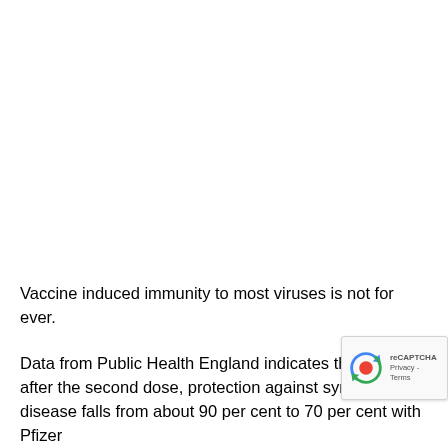Vaccine induced immunity to most viruses is not for ever.
Data from Public Health England indicates that 20 wee after the second dose, protection against symptomatic disease falls from about 90 per cent to 70 per cent with Pfizer